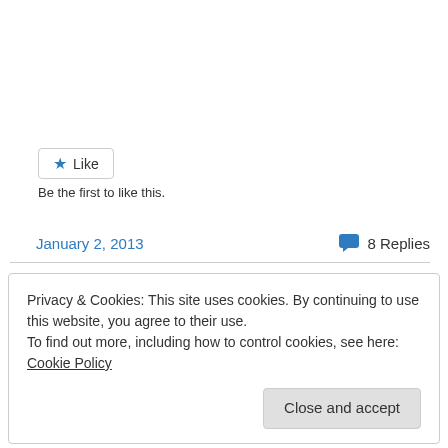[Figure (other): Like button with star icon and 'Like' label, bordered button]
Be the first to like this.
January 2, 2013
8 Replies
Privacy & Cookies: This site uses cookies. By continuing to use this website, you agree to their use.
To find out more, including how to control cookies, see here: Cookie Policy
Close and accept